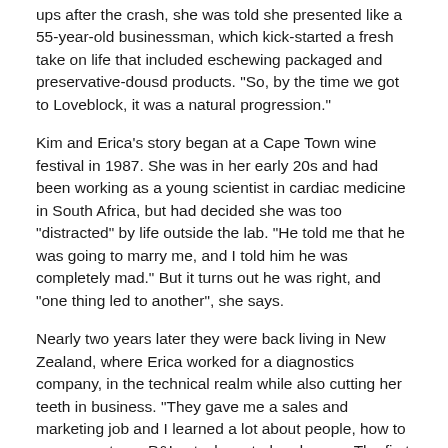ups after the crash, she was told she presented like a 55-year-old businessman, which kick-started a fresh take on life that included eschewing packaged and preservative-dousd products. "So, by the time we got to Loveblock, it was a natural progression."
Kim and Erica's story began at a Cape Town wine festival in 1987. She was in her early 20s and had been working as a young scientist in cardiac medicine in South Africa, but had decided she was too "distracted" by life outside the lab. "He told me that he was going to marry me, and I told him he was completely mad." But it turns out he was right, and "one thing led to another", she says.
Nearly two years later they were back living in New Zealand, where Erica worked for a diagnostics company, in the technical realm while also cutting her teeth in business. "They gave me a sales and marketing job and I learned a lot about people, how to manage a team P&L, stock control and so on. The first boss I had in New Zealand was quite instrumental in my thinking on business." Among those lessons was the fact that relationships were "paramount", she says. "I could always do people. I like people. It's an innate thing."
The skills she learned, and the relationships she could build, stood Erica in good stead in 1996n, as the couple devised an eponymous brand in their very early 30s. Kim was working at Coopers Creek and building a good reputation, and she had two babies 13 months apart,